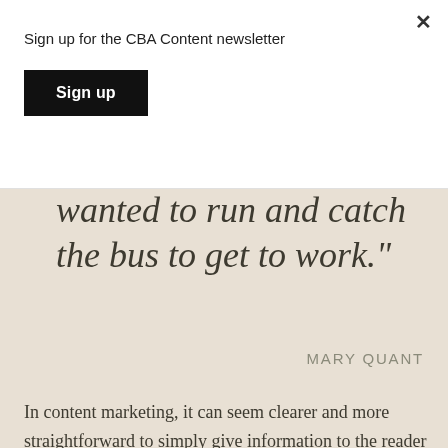Sign up for the CBA Content newsletter
Sign up
wanted to run and catch the bus to get to work."
MARY QUANT
In content marketing, it can seem clearer and more straightforward to simply give information to the reader without much embellishment or pizzazz. And while it's